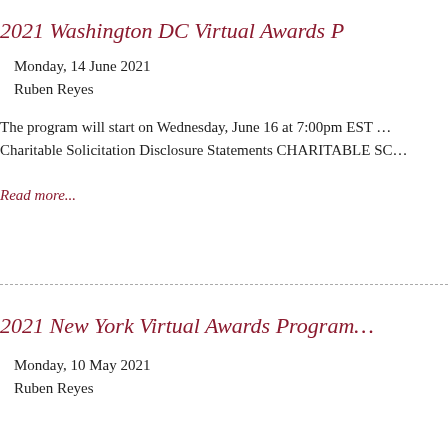2021 Washington DC Virtual Awards P…
Monday, 14 June 2021
Ruben Reyes
The program will start on Wednesday, June 16 at 7:00pm EST … Charitable Solicitation Disclosure Statements CHARITABLE SC…
Read more...
2021 New York Virtual Awards Program…
Monday, 10 May 2021
Ruben Reyes